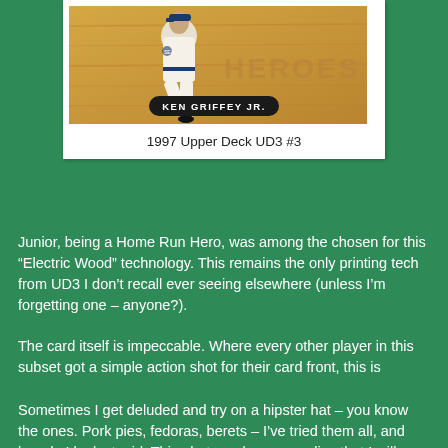[Figure (photo): 1997 Upper Deck UD3 #3 Ken Griffey Jr. baseball card showing a studio shot of the player in Seattle Mariners uniform with one leg raised, on an 'Electric Wood' background. Card label reads 'KEN GRIFFEY JR.' and 'HEROES' text visible in background.]
1997 Upper Deck UD3 #3
Junior, being a Home Run Hero, was among the chosen for this “Electric Wood” technology. This remains the only printing tech from UD3 I don’t recall ever seeing elsewhere (unless I’m forgetting one – anyone?).
The card itself is impeccable. Where every other player in this subset got a simple action shot for their card front, this is one of those times when Upper Deck drew from their deep well of totally amazing studio shots for Griffey’s base card. This same photo has been recycled for other Upper Deck cards, but I can’t imagine anyone complaining. I mean really, this image proves that someone can strut while standing still. Note the one leg up so you can peep his sweet freshwaters.
Sometimes I get deluded and try on a hipster hat – you know the ones. Pork pies, fedoras, berets – I’ve tried them all, and boy do I look stupid. This photo makes me realize that I will